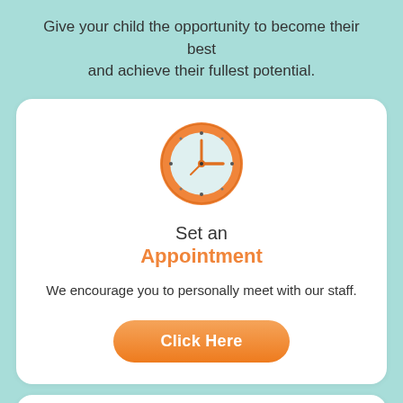Give your child the opportunity to become their best and achieve their fullest potential.
[Figure (illustration): Orange clock icon with clock hands pointing to approximately 3 o'clock, light blue clock face with dot markers, dark orange circular border]
Set an Appointment
We encourage you to personally meet with our staff.
[Figure (illustration): Orange rounded rectangle button with white text 'Click Here']
[Figure (illustration): Envelope icon with letter/document showing horizontal lines, partially visible at bottom of page]